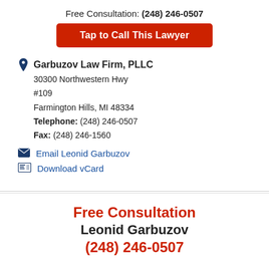Free Consultation: (248) 246-0507
Tap to Call This Lawyer
Garbuzov Law Firm, PLLC
30300 Northwestern Hwy
#109
Farmington Hills, MI 48334
Telephone: (248) 246-0507
Fax: (248) 246-1560
Email Leonid Garbuzov
Download vCard
Free Consultation
Leonid Garbuzov
(248) 246-0507